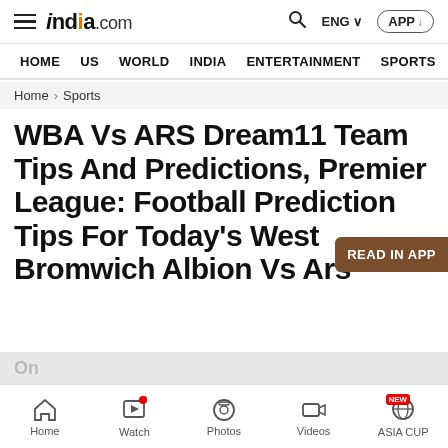india.com — HOME US WORLD INDIA ENTERTAINMENT SPORTS PHO
Home > Sports
WBA Vs ARS Dream11 Team Tips And Predictions, Premier League: Football Prediction Tips For Today's West Bromwich Albion Vs Arsenal
Home | Watch | Photos | Videos | ASIA CUP